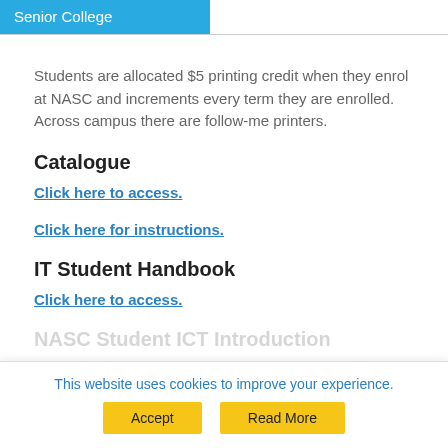Senior College
Students are allocated $5 printing credit when they enrol at NASC and increments every term they are enrolled. Across campus there are follow-me printers.
Catalogue
Click here to access.
Click here for instructions.
IT Student Handbook
Click here to access.
NASC Student ICT Introduction
This website uses cookies to improve your experience.